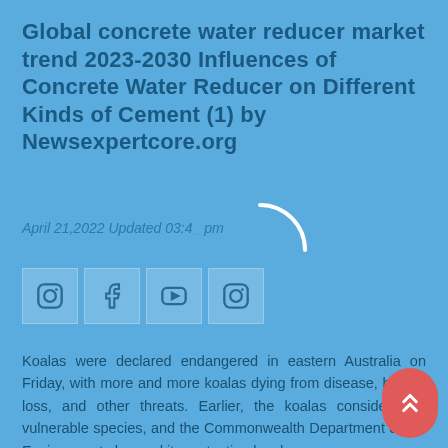Global concrete water reducer market trend 2023-2030 Influences of Concrete Water Reducer on Different Kinds of Cement (1) by Newsexpertcore.org
April 21,2022 Updated 03:4_ pm
[Figure (other): Loading spinner arc (white partial circle) overlaid on the page]
[Figure (other): Social media icon buttons: Instagram, Facebook, YouTube, Instagram icons in light box containers]
Koalas were declared endangered in eastern Australia on Friday, with more and more koalas dying from disease, habitat loss, and other threats. Earlier, the koalas considered a vulnerable species, and the Commonwealth Department of the Environment changed its protection level